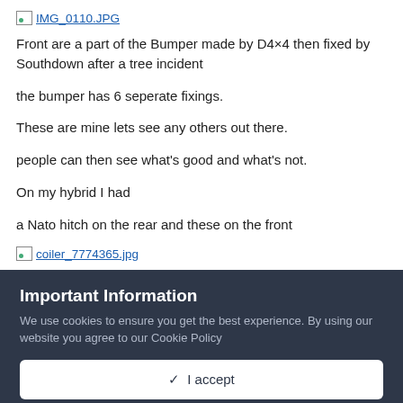[Figure (photo): Broken image placeholder link labeled IMG_0110.JPG]
Front are a part of the Bumper made by D4×4 then fixed by Southdown after a tree incident
the bumper has 6 seperate fixings.
These are mine lets see any others out there.
people can then see what's good and what's not.
On my hybrid I had
a Nato hitch on the rear and these on the front
[Figure (photo): Broken image placeholder link labeled coiler_7774365.jpg]
Important Information
We use cookies to ensure you get the best experience. By using our website you agree to our Cookie Policy
✓  I accept